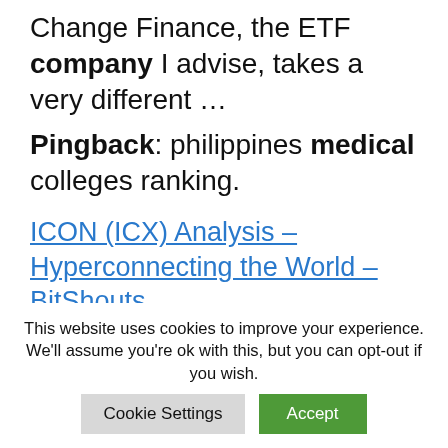Change Finance, the ETF company I advise, takes a very different …
Pingback: philippines medical colleges ranking.
ICON (ICX) Analysis – Hyperconnecting the World – BitShouts
ICON aims to build an ecosystem of different blockchains in varying industries and … universities, banks, insurance companies, and securities
This website uses cookies to improve your experience. We'll assume you're ok with this, but you can opt-out if you wish.